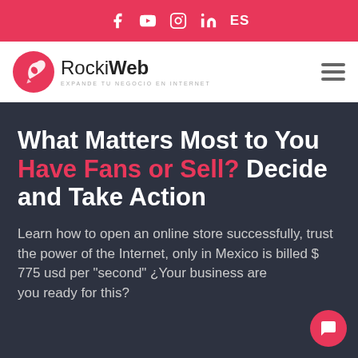f  ▶  ○  in  ES
[Figure (logo): RockiWeb logo — red circle with rocket icon, text RockiWeb, tagline EXPANDE TU NEGOCIO EN INTERNET]
What Matters Most to You Have Fans or Sell? Decide and Take Action
Learn how to open an online store successfully, trust the power of the Internet, only in Mexico is billed $ 775 usd per "second" ¿Your business are you ready for this?